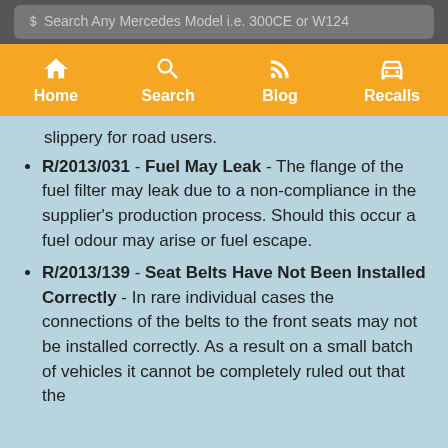Search Any Mercedes Model i.e. 300CE or W124
Home | Search | Blog | Recalls
slippery for road users.
R/2013/031 - Fuel May Leak - The flange of the fuel filter may leak due to a non-compliance in the supplier's production process. Should this occur a fuel odour may arise or fuel escape.
R/2013/139 - Seat Belts Have Not Been Installed Correctly - In rare individual cases the connections of the belts to the front seats may not be installed correctly. As a result on a small batch of vehicles it cannot be completely ruled out that the